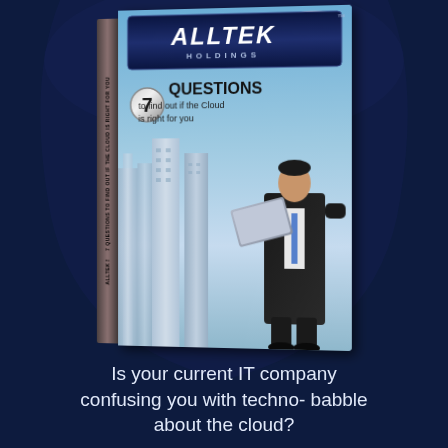[Figure (illustration): 3D rendered book cover for Alltek Holdings titled '7 Questions to find out if the Cloud is right for you', showing a businessman in a suit holding a laptop looking upward, with city skyscrapers in the background against a blue sky. The book is shown in perspective with a visible spine.]
Is your current IT company confusing you with techno- babble about the cloud?